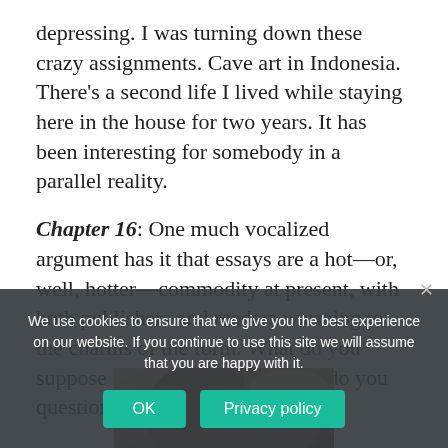depressing. I was turning down these crazy assignments. Cave art in Indonesia. There's a second life I lived while staying here in the house for two years. It has been interesting for somebody in a parallel reality.
Chapter 16: One much vocalized argument has it that essays are a hot—or, well, hotter—commodity at present, with both publishers and readers warming to the charms of the form. What do you suppose is behind that trend—or do you question the hype?
[Figure (photo): Close-up photo of what appears to be a car's side mirror or similar reflective curved surface with warm brown tones]
We use cookies to ensure that we give you the best experience on our website. If you continue to use this site we will assume that you are happy with it.